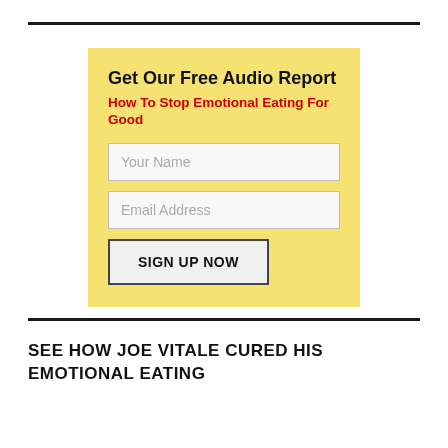[Figure (other): Email opt-in signup form with yellow background. Contains title 'Get Our Free Audio Report', subtitle 'How To Stop Emotional Eating For Good' in red, two input fields labeled 'Your Name' and 'Email Address', and a 'SIGN UP NOW' button.]
SEE HOW JOE VITALE CURED HIS EMOTIONAL EATING